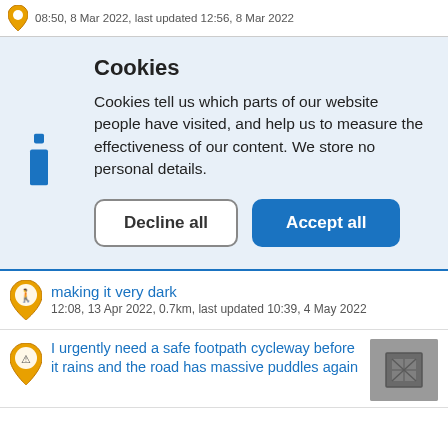08:50, 8 Mar 2022, last updated 12:56, 8 Mar 2022
Cookies
Cookies tell us which parts of our website people have visited, and help us to measure the effectiveness of our content. We store no personal details.
Decline all | Accept all
making it very dark
12:08, 13 Apr 2022, 0.7km, last updated 10:39, 4 May 2022
I urgently need a safe footpath cycleway before it rains and the road has massive puddles again
[Figure (photo): Photo of a drain/grate on a road surface]